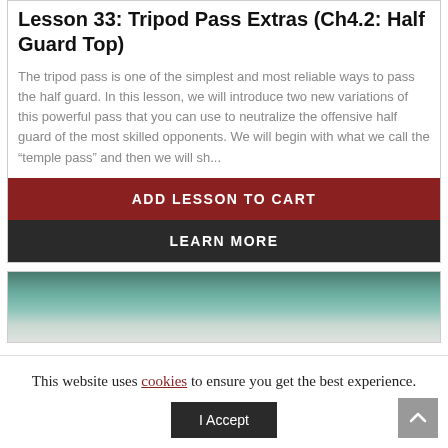Lesson 33: Tripod Pass Extras (Ch4.2: Half Guard Top)
The tripod pass is one of the simplest and most reliable ways to pass the half guard. In this lesson, we will introduce two new variations of this powerful pass that you can use to neutralize the offensive half guard of the most skilled opponents. We will begin with what we call the “temple pass” and then we will sh...
ADD LESSON TO CART
LEARN MORE
[Figure (photo): Partial view of a beach or ocean scene with teal/green water and sandy shore]
This website uses cookies to ensure you get the best experience.
I Accept